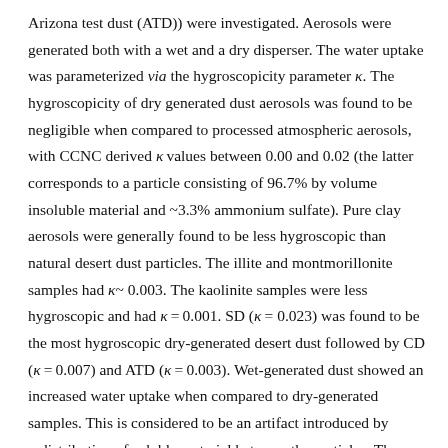Arizona test dust (ATD)) were investigated. Aerosols were generated both with a wet and a dry disperser. The water uptake was parameterized via the hygroscopicity parameter κ. The hygroscopicity of dry generated dust aerosols was found to be negligible when compared to processed atmospheric aerosols, with CCNC derived κ values between 0.00 and 0.02 (the latter corresponds to a particle consisting of 96.7% by volume insoluble material and ~3.3% ammonium sulfate). Pure clay aerosols were generally found to be less hygroscopic than natural desert dust particles. The illite and montmorillonite samples had κ~ 0.003. The kaolinite samples were less hygroscopic and had κ = 0.001. SD (κ = 0.023) was found to be the most hygroscopic dry-generated desert dust followed by CD (κ = 0.007) and ATD (κ = 0.003). Wet-generated dust showed an increased water uptake when compared to dry-generated samples. This is considered to be an artifact introduced by redistribution of soluble material between the particles. Thus, the generation method is critically important when presenting such data.